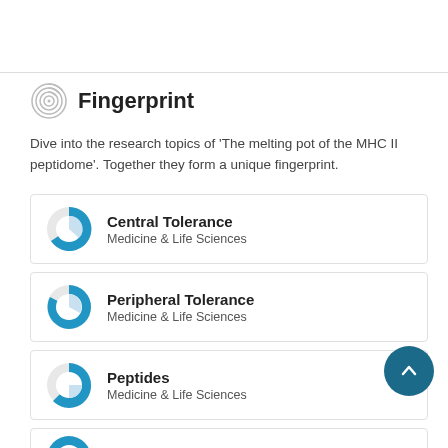Fingerprint
Dive into the research topics of 'The melting pot of the MHC II peptidome'. Together they form a unique fingerprint.
Central Tolerance — Medicine & Life Sciences
Peripheral Tolerance — Medicine & Life Sciences
Peptides — Medicine & Life Sciences
Histocompatibility Antigens Class II